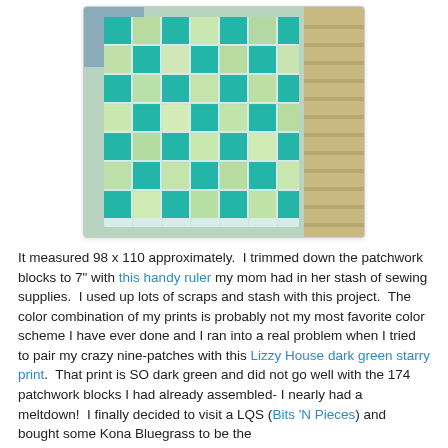[Figure (photo): A teal and green patchwork quilt with nine-patch pattern hung outdoors against a house siding and deck railing background.]
It measured 98 x 110 approximately.  I trimmed down the patchwork blocks to 7" with this handy ruler my mom had in her stash of sewing supplies.  I used up lots of scraps and stash with this project.  The color combination of my prints is probably not my most favorite color scheme I have ever done and I ran into a real problem when I tried to pair my crazy nine-patches with this Lizzy House dark green starry print.  That print is SO dark green and did not go well with the 174 patchwork blocks I had already assembled- I nearly had a meltdown!  I finally decided to visit a LQS (Bits 'N Pieces) and bought some Kona Bluegrass to be the